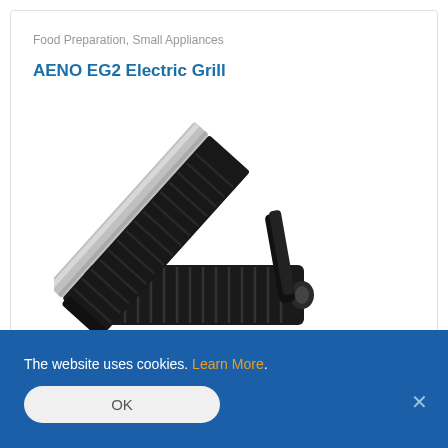Food Preparation, Small Appliances
AENO EG2 Electric Grill
[Figure (photo): AENO EG2 Electric Grill with open lid, showing ridged black grill plates and stainless steel handle, photographed on white background]
The website uses cookies. Learn More.
OK